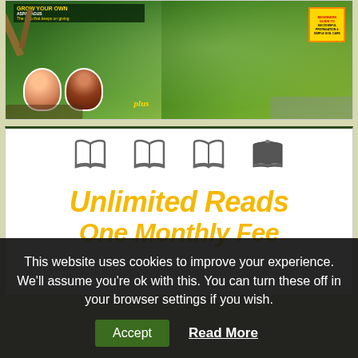[Figure (photo): Magazine cover featuring asparagus growing guide with people and gardening tools]
[Figure (illustration): Four open book icons in gray, followed by 'Unlimited Reads One Monthly Fee' text in bold yellow/gold italic font on white card background]
This website uses cookies to improve your experience. We'll assume you're ok with this. You can turn these off in your browser settings if you wish.
Accept  Read More